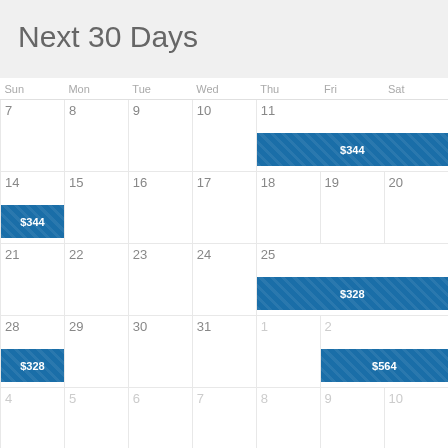Next 30 Days
| Sun | Mon | Tue | Wed | Thu | Fri | Sat |
| --- | --- | --- | --- | --- | --- | --- |
| 7 | 8 | 9 | 10 | 11 $344 | 12 | 13 |
| 14 $344 | 15 | 16 | 17 | 18 | 19 | 20 |
| 21 | 22 | 23 | 24 | 25 $328 | 26 | 27 |
| 28 $328 | 29 | 30 | 31 | 1 | 2 $564 | 3 |
| 4 | 5 | 6 | 7 | 8 | 9 | 10 |